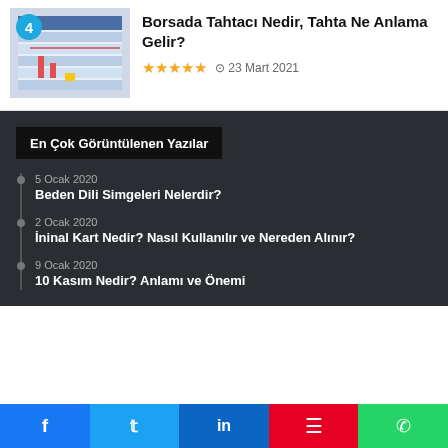[Figure (screenshot): Article thumbnail showing a stock market board screenshot with blue table layout]
4
Borsada Tahtacı Nedir, Tahta Ne Anlama Gelir?
★★★★★  ⊙ 23 Mart 2021
En Çok Görüntülenen Yazılar
5 Ocak 2020 — Beden Dili Simgeleri Nelerdir?
2 Ocak 2020 — İninal Kart Nedir? Nasıl Kullanılır ve Nereden Alınır?
9 Ocak 2020 — 10 Kasım Nedir? Anlamı ve Önemi
f  t  in  ⊙  ✆